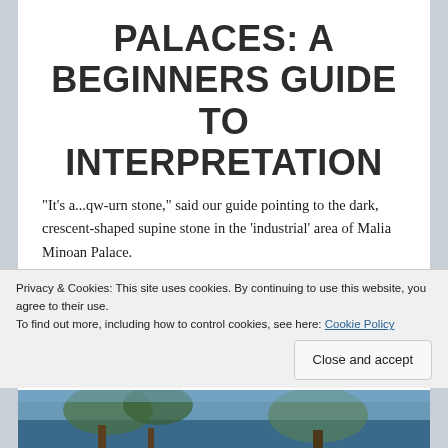PALACES: A BEGINNERS GUIDE TO INTERPRETATION
“It’s a...qw-urn stone,” said our guide pointing to the dark, crescent-shaped supine stone in the ‘industrial’ area of Malia Minoan Palace.
He’d pulled a lined piece of paper out of his pocket with the word ‘quern stone’ written in red gel pen. After we’d told him it was a saddle quern, he squeezed the word ‘saddle’ in front of ‘quern’, using the same red pen.
Privacy & Cookies: This site uses cookies. By continuing to use this website, you agree to their use.
To find out more, including how to control cookies, see here: Cookie Policy
[Figure (photo): Partial view of a photo at the bottom of the page, showing what appears to be an outdoor scene, mostly obscured.]